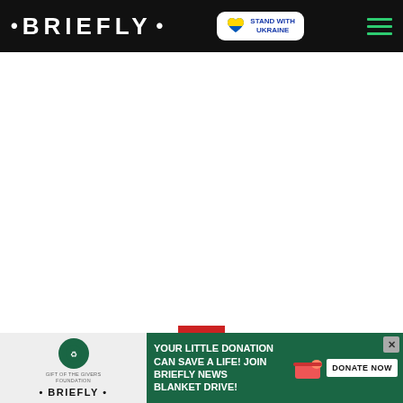• BRIEFLY •
[Figure (logo): Stand With Ukraine badge - white rounded rectangle with Ukrainian flag heart icon and text STAND WITH UKRAINE in blue]
[Figure (other): Hamburger menu icon with three green horizontal lines]
[Figure (other): White content area - blank, main page body]
[Figure (other): Red scroll/expand button with white chevron down arrow]
[Figure (other): Advertisement banner: Gift of the Givers Foundation and Briefly logos on left white section; green background on right with text YOUR LITTLE DONATION CAN SAVE A LIFE! JOIN BRIEFLY NEWS BLANKET DRIVE! with donate now button and close X button]